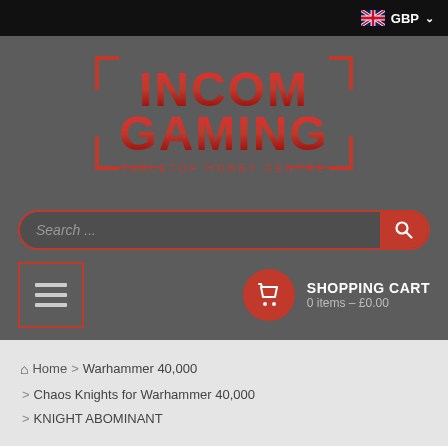GBP
[Figure (logo): Incom Gaming Tabletop Hobby Centre logo — red metallic block letters on dark background]
Search ...
SHOPPING CART
0 items – £0.00
Home > Warhammer 40,000 > Chaos Knights for Warhammer 40,000 > KNIGHT ABOMINANT